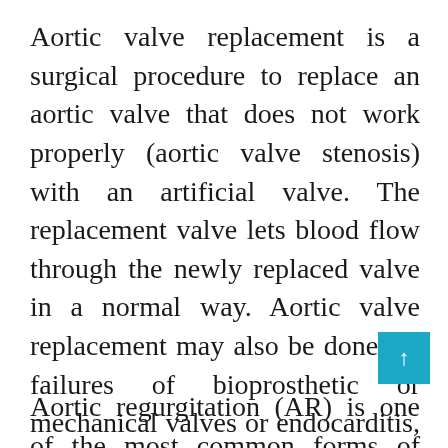Aortic valve replacement is a surgical procedure to replace an aortic valve that does not work properly (aortic valve stenosis) with an artificial valve. The replacement valve lets blood flow through the newly replaced valve in a normal way. Aortic valve replacement may also be done for failures of bioprosthetic or mechanical valves or endocarditis, a condition where infection is present inside the heart.
Aortic regurgitation (AR) is one of the most common forms of valvular heart